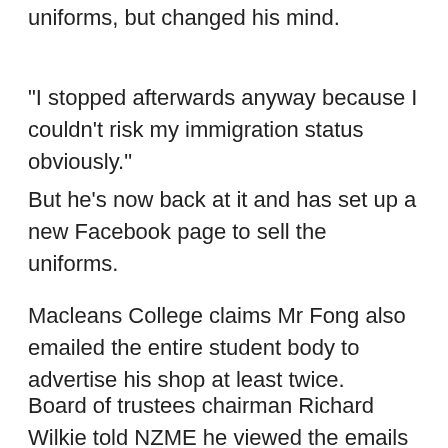uniforms, but changed his mind.
"I stopped afterwards anyway because I couldn't risk my immigration status obviously."
But he's now back at it and has set up a new Facebook page to sell the uniforms.
Macleans College claims Mr Fong also emailed the entire student body to advertise his shop at least twice.
Board of trustees chairman Richard Wilkie told NZME he viewed the emails a breach of privacy